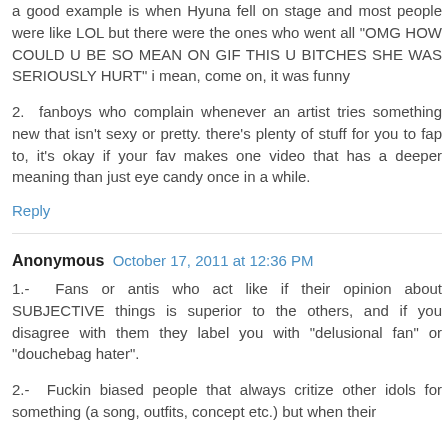a good example is when Hyuna fell on stage and most people were like LOL but there were the ones who went all "OMG HOW COULD U BE SO MEAN ON GIF THIS U BITCHES SHE WAS SERIOUSLY HURT" i mean, come on, it was funny
2. fanboys who complain whenever an artist tries something new that isn't sexy or pretty. there's plenty of stuff for you to fap to, it's okay if your fav makes one video that has a deeper meaning than just eye candy once in a while.
Reply
Anonymous October 17, 2011 at 12:36 PM
1.- Fans or antis who act like if their opinion about SUBJECTIVE things is superior to the others, and if you disagree with them they label you with "delusional fan" or "douchebag hater".
2.- Fuckin biased people that always critize other idols for something (a song, outfits, concept etc.) but when their